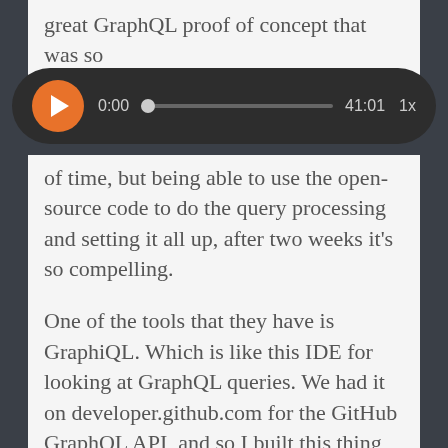great GraphQL proof of concept that was so compelling. And to be totally fair, thanks to
[Figure (screenshot): Audio player widget with orange play button, time display showing 0:00, progress bar, total duration 41:01, and 1x speed control on dark rounded background]
of time, but being able to use the open-source code to do the query processing and setting it all up, after two weeks it's so compelling.
One of the tools that they have is GraphiQL. Which is like this IDE for looking at GraphQL queries. We had it on developer.github.com for the GitHub GraphQL API, and so I built this thing in Ruby on Rails inside our giant GitHub monolith app, and then put an extra endpoint into the REST API that was like